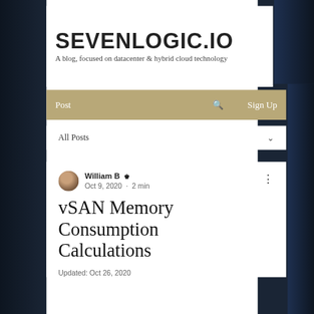SEVENLOGIC.IO — A blog, focused on datacenter & hybrid cloud technology
Post | Search | Sign Up
All Posts
William B ♛ Oct 9, 2020 · 2 min
vSAN Memory Consumption Calculations
Updated: Oct 26, 2020